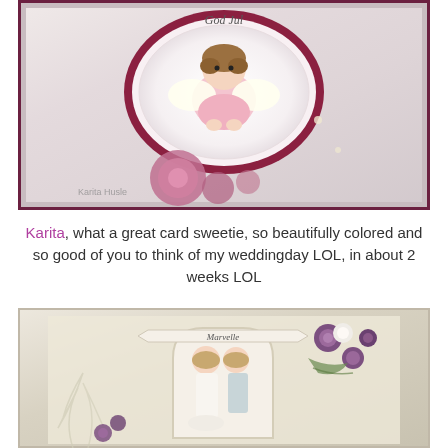[Figure (photo): A handmade greeting card featuring a cute angel character with wings, colored in pink tones, set within a scalloped oval frame on a decorative floral background with burgundy border and pink flowers at the bottom.]
Karita, what a great card sweetie, so beautifully colored and so good of you to think of my weddingday LOL, in about 2 weeks LOL
[Figure (photo): A handmade wedding card featuring two Tilda-style characters (bride and groom) inside an arch frame, decorated with purple roses and white flowers on a vintage/cream patterned background with a banner at the top.]